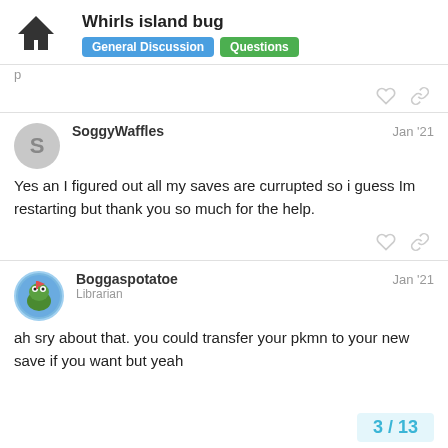Whirlsisland bug — General Discussion | Questions
p
SoggyWaffles — Jan '21
Yes an I figured out all my saves are currupted so i guess Im restarting but thank you so much for the help.
Boggaspotatoe — Librarian — Jan '21
ah sry about that. you could transfer your pkmn to your new save if you want but yeah
3 / 13